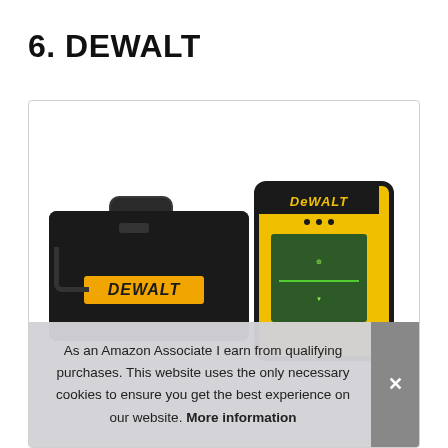6. DEWALT
[Figure (photo): Product photo showing a black DeWalt carrying case on the left with yellow DeWalt branding, and a yellow and black DeWalt laser detector/receiver on the right with a green screen display.]
As an Amazon Associate I earn from qualifying purchases. This website uses the only necessary cookies to ensure you get the best experience on our website. More information